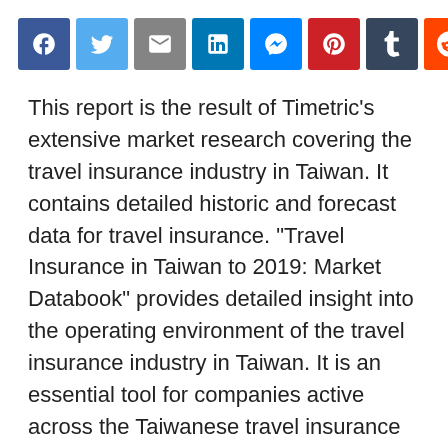[Figure (other): Row of social media sharing buttons: Facebook, Twitter, Email, LinkedIn, Messenger, Pinterest, Tumblr, Reddit, ShareThis]
This report is the result of Timetric's extensive market research covering the travel insurance industry in Taiwan. It contains detailed historic and forecast data for travel insurance. "Travel Insurance in Taiwan to 2019: Market Databook" provides detailed insight into the operating environment of the travel insurance industry in Taiwan. It is an essential tool for companies active across the Taiwanese travel insurance value chain and for new players considering to enter the market.
Report Scope